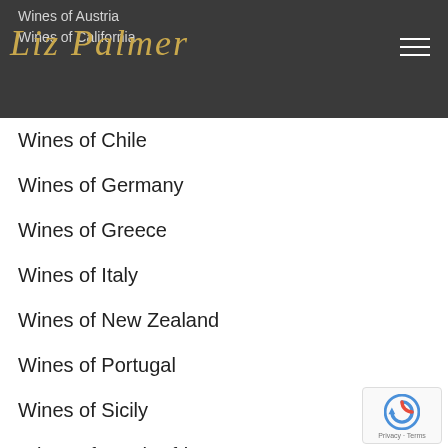Wines of Austria
Wines of California
[Figure (logo): Liz Palmer cursive signature logo in gold on dark gray header background]
Wines of Chile
Wines of Germany
Wines of Greece
Wines of Italy
Wines of New Zealand
Wines of Portugal
Wines of Sicily
Wines of South Africa
Wines of Spain
Wines of USA
[Figure (logo): Google reCAPTCHA badge with Privacy and Terms text]